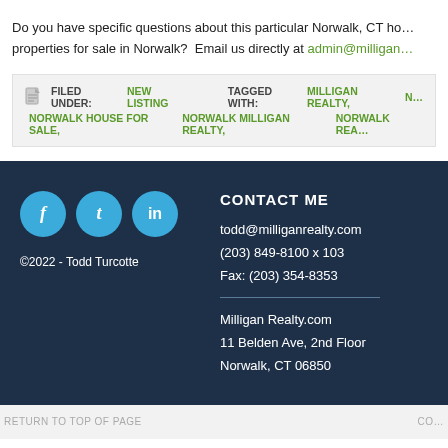Do you have specific questions about this particular Norwalk, CT ho… properties for sale in Norwalk?  Email us directly at admin@milligan…
FILED UNDER: NEW LISTING   TAGGED WITH: MILLIGAN REALTY, N… NORWALK HOUSE FOR SALE, NORWALK MILLIGAN REALTY, NORWALK REA…
[Figure (illustration): Three circular social media icons: Facebook (f), Tumblr (t), LinkedIn (in) in blue circles]
©2022 - Todd Turcotte
CONTACT ME
todd@milliganrealty.com
(203) 849-8100 x 103
Fax: (203) 354-8353
Milligan Realty.com
11 Belden Ave, 2nd Floor
Norwalk, CT 06850
RETURN TO TOP OF PAGE    CO…